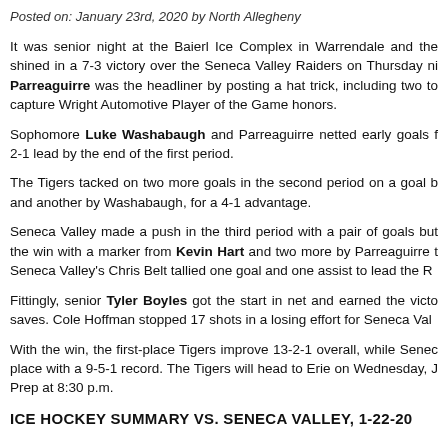Posted on: January 23rd, 2020 by North Allegheny
It was senior night at the Baierl Ice Complex in Warrendale and the [seniors] shined in a 7-3 victory over the Seneca Valley Raiders on Thursday ni[ght]. Parreaguirre was the headliner by posting a hat trick, including two [goals] to capture Wright Automotive Player of the Game honors.
Sophomore Luke Washabaugh and Parreaguirre netted early goals f[or a] 2-1 lead by the end of the first period.
The Tigers tacked on two more goals in the second period on a goal b[y...] and another by Washabaugh, for a 4-1 advantage.
Seneca Valley made a push in the third period with a pair of goals but[...] the win with a marker from Kevin Hart and two more by Parreaguirre t[o...]. Seneca Valley's Chris Belt tallied one goal and one assist to lead the R[aiders].
Fittingly, senior Tyler Boyles got the start in net and earned the victo[ry with] saves. Cole Hoffman stopped 17 shots in a losing effort for Seneca Val[ley].
With the win, the first-place Tigers improve 13-2-1 overall, while Sene[ca Valley is in] place with a 9-5-1 record. The Tigers will head to Erie on Wednesday, J[an. 29 to face] Prep at 8:30 p.m.
ICE HOCKEY SUMMARY VS. SENECA VALLEY, 1-22-20